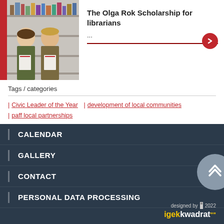[Figure (photo): Two women holding certificates standing in front of bookshelves, with a red vertical bar on the left side]
The Olga Rok Scholarship for librarians
...
Tags / categories
| Civic Leader of the Year
development of local communities
| paff local partnerships
CALENDAR
GALLERY
CONTACT
PERSONAL DATA PROCESSING
designed by 2022 igek kwadrat